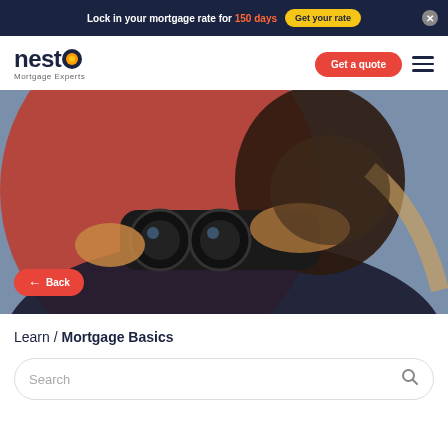Lock in your mortgage rate for 150 days  Get your rate  ×
[Figure (logo): nesto Mortgage Experts logo with orange dot in the 'o']
Get a quote
[Figure (photo): Woman looking through binoculars against a red and blue background, with a Back button overlay]
Learn / Mortgage Basics
Search